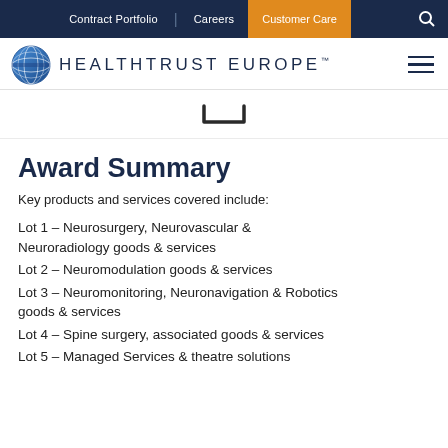Contract Portfolio | Careers | Customer Care
[Figure (logo): HealthTrust Europe logo with globe icon and hamburger menu]
[Figure (other): Loading spinner / bracket icon]
Award Summary
Key products and services covered include:
Lot 1 – Neurosurgery, Neurovascular & Neuroradiology goods & services
Lot 2 – Neuromodulation goods & services
Lot 3 – Neuromonitoring, Neuronavigation & Robotics goods & services
Lot 4 – Spine surgery, associated goods & services
Lot 5 – Managed Services & theatre solutions